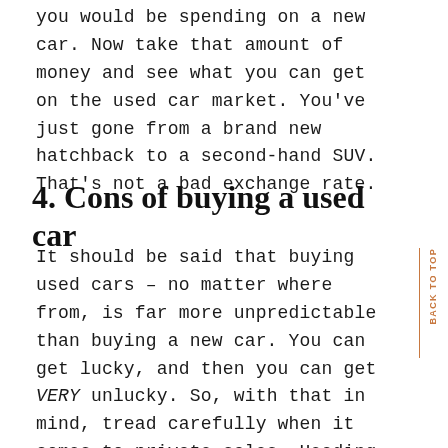you would be spending on a new car. Now take that amount of money and see what you can get on the used car market. You've just gone from a brand new hatchback to a second-hand SUV. That's not a bad exchange rate.
4. Cons of buying a used car
It should be said that buying used cars – no matter where from, is far more unpredictable than buying a new car. You can get lucky, and then you can get VERY unlucky. So, with that in mind, tread carefully when it comes to private sales. Heading to a dealership can mitigate against some of these risks, but ultimately, it comes down to how that car